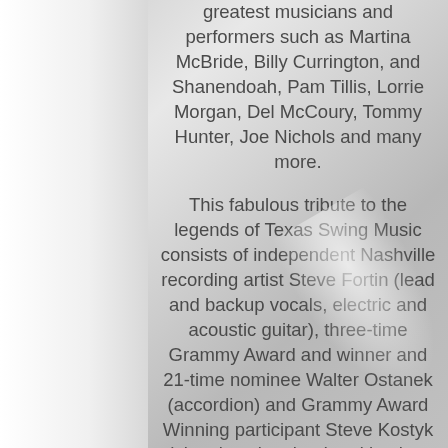greatest musicians and performers such as Martina McBride, Billy Currington, and Shanendoah, Pam Tillis, Lorrie Morgan, Del McCoury, Tommy Hunter, Joe Nichols and many more.
This fabulous tribute to the legends of Texas Swing Music consists of independent Nashville recording artist Steve Fortin (lead and backup vocals, electric and acoustic guitar), three-time Grammy Award and winner and 21-time nominee Walter Ostanek (accordion) and Grammy Award Winning participant Steve Kostyk (electric guitar, lead and backup vocals), one of Canada's foremost journeyman steel guitar players, P. Albert Fortney (who has performed with